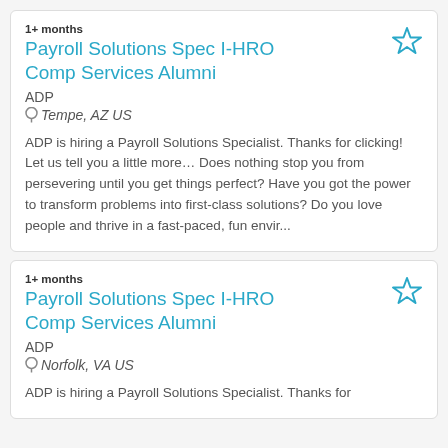1+ months
Payroll Solutions Spec I-HRO Comp Services Alumni
ADP
Tempe, AZ US
ADP is hiring a Payroll Solutions Specialist. Thanks for clicking! Let us tell you a little more… Does nothing stop you from persevering until you get things perfect? Have you got the power to transform problems into first-class solutions? Do you love people and thrive in a fast-paced, fun envir...
1+ months
Payroll Solutions Spec I-HRO Comp Services Alumni
ADP
Norfolk, VA US
ADP is hiring a Payroll Solutions Specialist. Thanks for